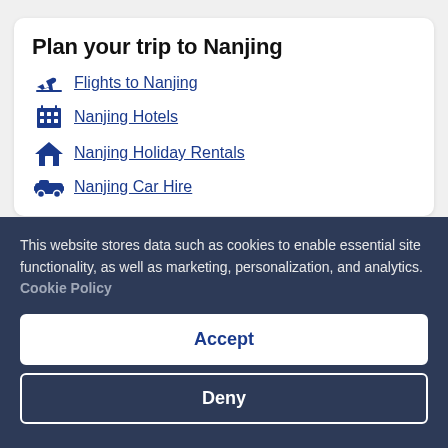Plan your trip to Nanjing
Flights to Nanjing
Nanjing Hotels
Nanjing Holiday Rentals
Nanjing Car Hire
Top Trending
This website stores data such as cookies to enable essential site functionality, as well as marketing, personalization, and analytics. Cookie Policy
Accept
Deny